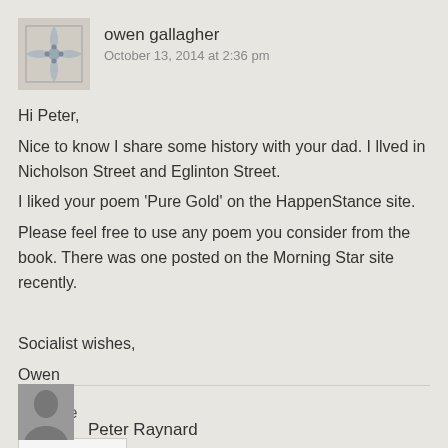owen gallagher
October 13, 2014 at 2:36 pm
Hi Peter,
Nice to know I share some history with your dad. I llved in Nicholson Street and Eglinton Street.
I liked your poem 'Pure Gold' on the HappenStance site.
Please feel free to use any poem you consider from the book. There was one posted on the Morning Star site recently.

Socialist wishes,
Owen
Like
REPLY
Peter Raynard